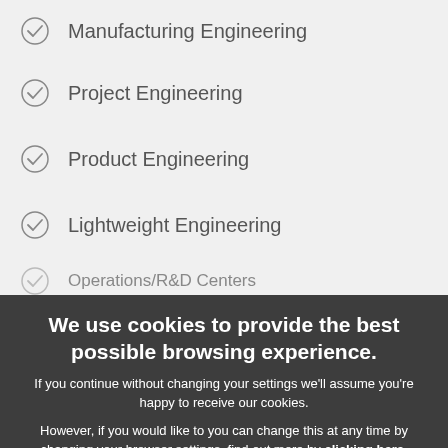Manufacturing Engineering
Project Engineering
Product Engineering
Lightweight Engineering
Operations/R&D Centers (partially visible)
We use cookies to provide the best possible browsing experience. If you continue without changing your settings we'll assume you're happy to receive our cookies. However, if you would like to you can change this at any time by changing your browser settings, find out more by clicking here.
Okay. I got it.